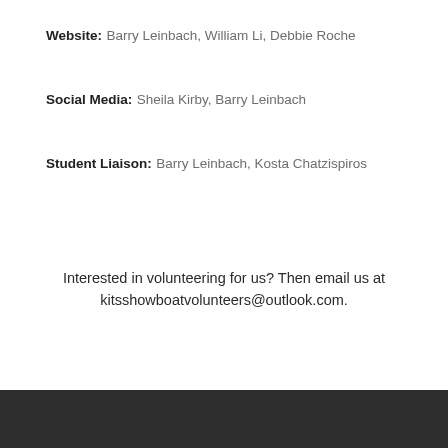Website: Barry Leinbach, William Li, Debbie Roche
Social Media: Sheila Kirby, Barry Leinbach
Student Liaison: Barry Leinbach, Kosta Chatzispiros
Interested in volunteering for us? Then email us at kitsshowboatvolunteers@outlook.com.